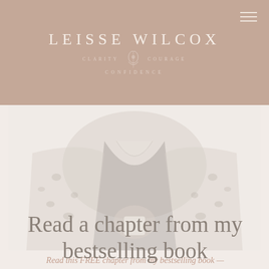LEISSE WILCOX — CLARITY · COURAGE · CONFIDENCE
[Figure (photo): Faded, soft-focus photograph of a woman from the shoulders down, holding a white mug, wearing a leopard-print cardigan over a dark top. The image is washed out and very light.]
Read this FREE chapter from my bestselling book —
Read a chapter from my bestselling book